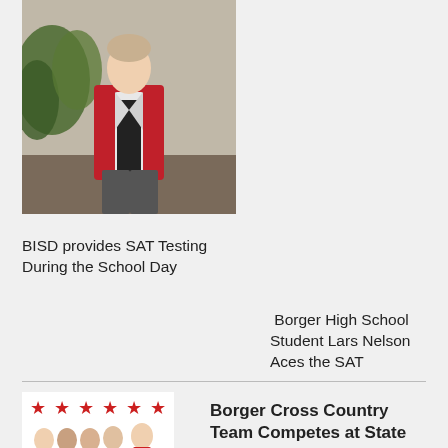[Figure (photo): A teenage boy in a red jacket standing in front of plants and a brown wall]
BISD provides SAT Testing During the School Day
Borger High School Student Lars Nelson Aces the SAT
[Figure (photo): Group of cross country runners wearing red uniforms, with red stars across the top of the image]
Borger Cross Country Team Competes at State